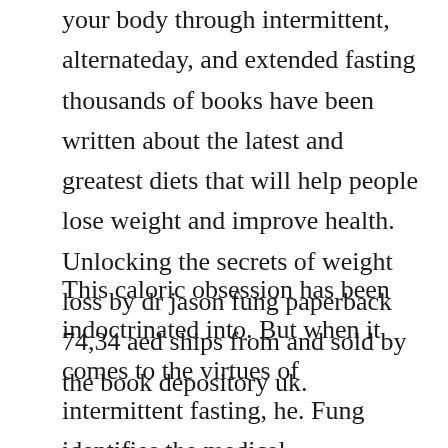your body through intermittent, alternateday, and extended fasting thousands of books have been written about the latest and greatest diets that will help people lose weight and improve health. Unlocking the secrets of weight loss by dr jason fung paperback 74,34 aed ships from and sold by the book depository uk.
This caloric obsession has been indoctrinated into. But when it comes to the virtues of intermittent fasting, he. Fung identifies the medical communitys many missteps in cancer researchin particular, its focus on genetics, or